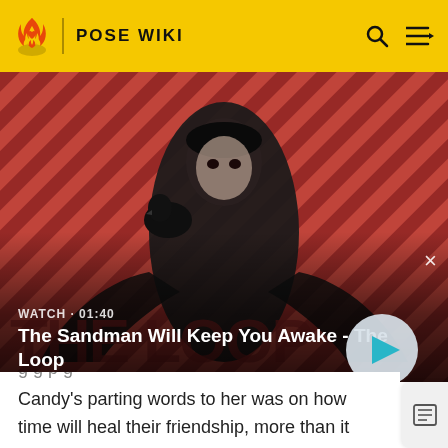POSE WIKI
[Figure (screenshot): Video thumbnail showing a dark character with a raven on shoulder against a red and dark striped background. Shows 'The Loop' branding. Watch time 01:40. Title: The Sandman Will Keep You Awake - The Loop. Play button overlay.]
Candy's parting words to her was on how time will heal their friendship, more than it could have ever done when they were alive, and that Lulu will truly miss her. Candy's death was particularly painful for Lulu as she became dependent on drugs in the